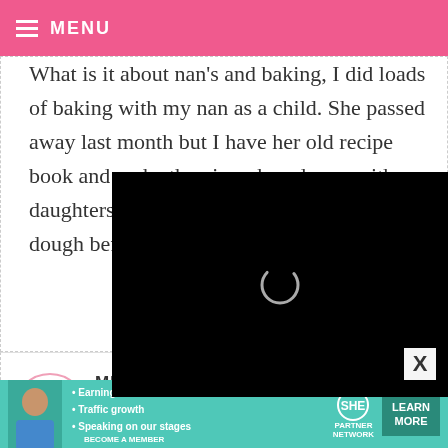MENU
What is it about nan's and baking, I did loads of baking with my nan as a child. She passed away last month but I have her old recipe book and make the gingerbread men with my daughters, although we do like to eat the dough before it'
[Figure (screenshot): Black video player overlay with loading spinner circle]
MUBONG
REPLY
What a lovely tradition! I wish I could
[Figure (infographic): SHE Partner Network advertisement banner with photo, bullet points about Earning site & social revenue, Traffic growth, Speaking on our stages, SHE logo, and LEARN MORE button]